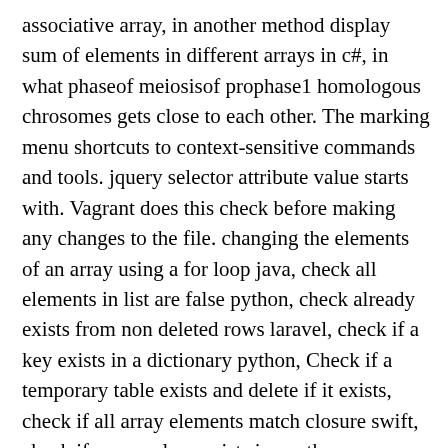associative array, in another method display sum of elements in different arrays in c#, in what phaseof meiosisof prophase1 homologous chrosomes gets close to each other. The marking menu shortcuts to context-sensitive commands and tools. jquery selector attribute value starts with. Vagrant does this check before making any changes to the file. changing the elements of an array using a for loop java, check all elements in list are false python, check already exists from non deleted rows laravel, check if a key exists in a dictionary python, Check if a temporary table exists and delete if it exists, check if all array elements match closure swift, check if array values exists in another array, check if column exists in dataframe python, check if file.properties is exits android, check if list of objects contains value c#, check if object exists in s3 bucket laravel, check if record exists in sql with c sharp, checked a element is